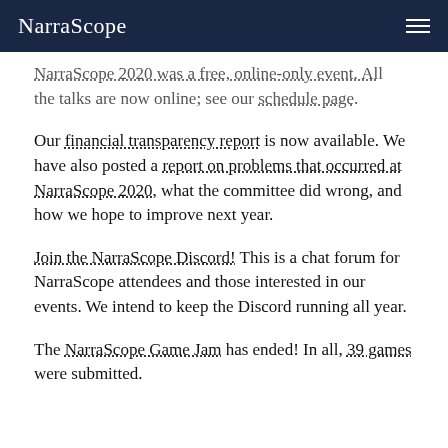NarraScope
NarraScope 2020 was a free, online-only event. All the talks are now online; see our schedule page.
Our financial transparency report is now available. We have also posted a report on problems that occurred at NarraScope 2020, what the committee did wrong, and how we hope to improve next year.
Join the NarraScope Discord! This is a chat forum for NarraScope attendees and those interested in our events. We intend to keep the Discord running all year.
The NarraScope Game Jam has ended! In all, 39 games were submitted.